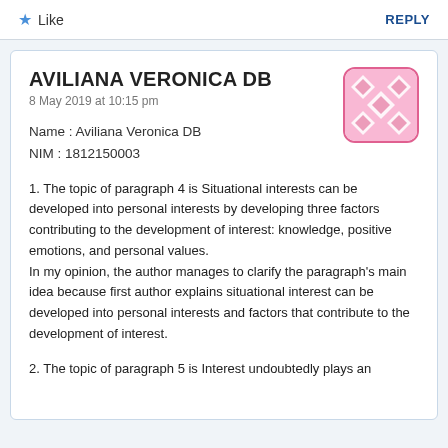Like   REPLY
AVILIANA VERONICA DB
8 May 2019 at 10:15 pm
Name : Aviliana Veronica DB
NIM : 1812150003
[Figure (illustration): Pink and white decorative avatar with geometric diamond/floral pattern]
1. The topic of paragraph 4 is Situational interests can be developed into personal interests by developing three factors contributing to the development of interest: knowledge, positive emotions, and personal values.
In my opinion, the author manages to clarify the paragraph's main idea because first author explains situational interest can be developed into personal interests and factors that contribute to the development of interest.
2. The topic of paragraph 5 is Interest undoubtedly plays an